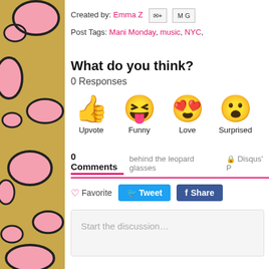[Figure (illustration): Leopard print pattern with pink and black spots on a tan/gold background, occupying the left strip of the page]
Created by: Emma Z
Post Tags: Mani Monday, music, NYC,
What do you think?
0 Responses
[Figure (infographic): Four emoji reaction buttons: thumbs up (Upvote), laughing face with tongue (Funny), heart eyes face (Love), surprised face (Surprised)]
0 Comments   behind the leopard glasses   🔒 Disqus' P
♡ Favorite   Tweet   Share
Start the discussion…